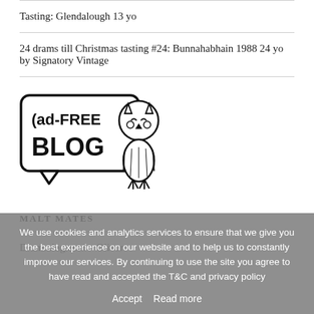Tasting: Glendalough 13 yo
24 drams till Christmas tasting #24: Bunnahabhain 1988 24 yo by Signatory Vintage
[Figure (illustration): Ad-free blog badge with speech bubble containing 'ad-FREE BLOG' text and an owl illustration to the right]
MALT MATES
Dramming.com – Oliver
We use cookies and analytics services to ensure that we give you the best experience on our website and to help us to constantly improve our services. By continuing to use the site you agree to have read and accepted the T&C and privacy policy
Accept   Read more